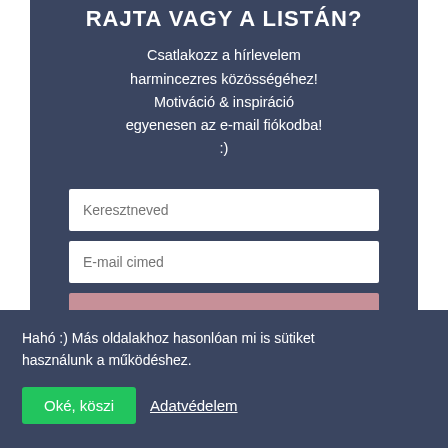RAJTA VAGY A LISTÁN?
Csatlakozz a hírlevelem harmincezres közösségéhez! Motiváció & inspiráció egyenesen az e-mail fiókodba! :)
[Figure (screenshot): Newsletter signup form with two input fields (Keresztneved, E-mail cimed) and a submit button (KÉREM A HÍRLEVELET!)]
Hahó :) Más oldalakhoz hasonlóan mi is sütiket használunk a működéshez.
Oké, köszi   Adatvédelem